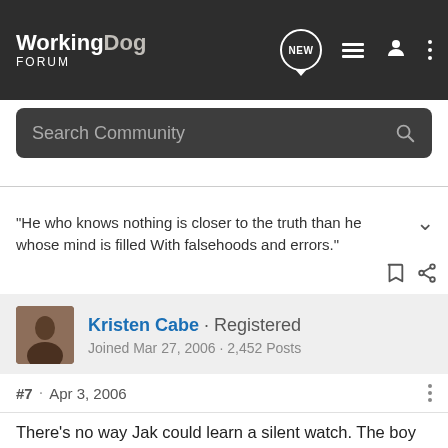WorkingDog FORUM
Search Community
"He who knows nothing is closer to the truth than he whose mind is filled With falsehoods and errors."
Kristen Cabe · Registered
Joined Mar 27, 2006 · 2,452 Posts
#7 · Apr 3, 2006
There's no way Jak could learn a silent watch. The boy was BORN to bark! At 10 months old and never having been worked before, he's already got a very nice sport dog bark when he's on the backtie. He never stops until he has something in his